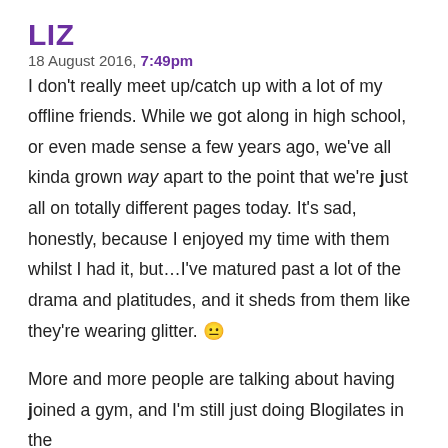LIZ
18 August 2016, 7:49pm
I don't really meet up/catch up with a lot of my offline friends. While we got along in high school, or even made sense a few years ago, we've all kinda grown way apart to the point that we're just all on totally different pages today. It's sad, honestly, because I enjoyed my time with them whilst I had it, but…I've matured past a lot of the drama and platitudes, and it sheds from them like they're wearing glitter. 😑
More and more people are talking about having joined a gym, and I'm still just doing Blogilates in the